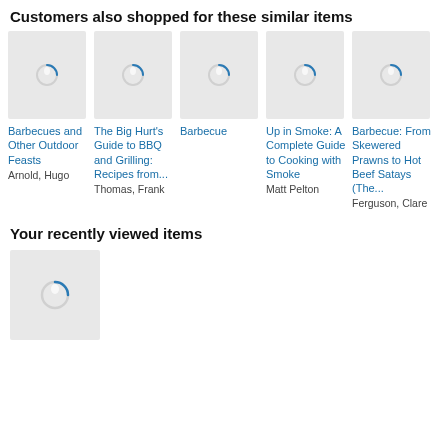Customers also shopped for these similar items
[Figure (screenshot): Product image placeholder with loading spinner for Barbecues and Other Outdoor Feasts]
Barbecues and Other Outdoor Feasts
Arnold, Hugo
[Figure (screenshot): Product image placeholder with loading spinner for The Big Hurt's Guide to BBQ and Grilling]
The Big Hurt's Guide to BBQ and Grilling: Recipes from...
Thomas, Frank
[Figure (screenshot): Product image placeholder with loading spinner for Barbecue]
Barbecue
[Figure (screenshot): Product image placeholder with loading spinner for Up in Smoke]
Up in Smoke: A Complete Guide to Cooking with Smoke
Matt Pelton
[Figure (screenshot): Product image placeholder with loading spinner for Barbecue: From Skewered Prawns to Hot Beef Satays]
Barbecue: From Skewered Prawns to Hot Beef Satays (The...
Ferguson, Clare
Your recently viewed items
[Figure (screenshot): Product image placeholder with loading spinner for recently viewed item]